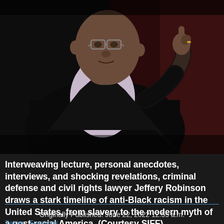[Figure (photo): A man wearing glasses and a black jacket over a light purple turtleneck, gesturing with his right index finger raised, speaking against a dark reddish-brown background.]
Interweaving lecture, personal anecdotes, interviews, and shocking revelations, criminal defense and civil rights lawyer Jeffery Robinson draws a stark timeline of anti-Black racism in the United States, from slavery to the modern myth of a post-racial America. (Courtesy SIFF)
Originally Published: June 22, 2022 12:55 a.m.